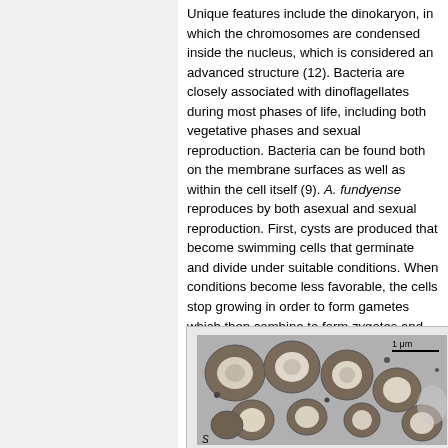Unique features include the dinokaryon, in which the chromosomes are condensed inside the nucleus, which is considered an advanced structure (12). Bacteria are closely associated with dinoflagellates during most phases of life, including both vegetative phases and sexual reproduction. Bacteria can be found both on the membrane surfaces as well as within the cell itself (9). A. fundyense reproduces by both asexual and sexual reproduction. First, cysts are produced that become swimming cells that germinate and divide under suitable conditions. When conditions become less favorable, the cells stop growing in order to form gametes which then combine to form zygotes and eventually cysts (10). The accumulation of these swimming cells in marine environments is what causes shellfish toxicity in seafood.
[Figure (photo): Electron microscopy image showing cross-sections of dinoflagellate cells, grayscale, with scale bar labeled '1 μm' and letter 'S' in lower left corner.]